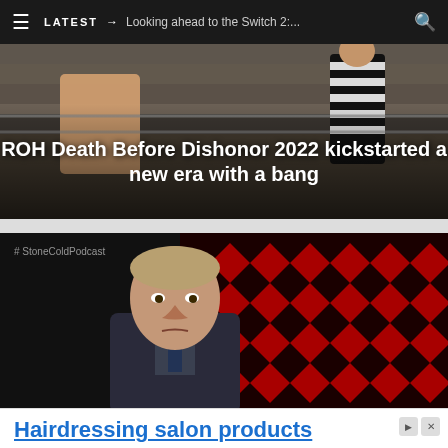LATEST → Looking ahead to the Switch 2:
[Figure (photo): ROH wrestling event image with referee in black and white striped shirt visible, wrestlers in ring with crowd in background. White bold text overlay reads: ROH Death Before Dishonor 2022 kickstarted a new era with a bang]
[Figure (photo): Photo of a man in a suit sitting against a red diamond-patterned background, with #StoneColdPodcast watermark in the top left corner]
Hairdressing salon products
Professional hair products with the best quality-price ratio. Your salon needs Nouvelle!
Nouvelle
Open